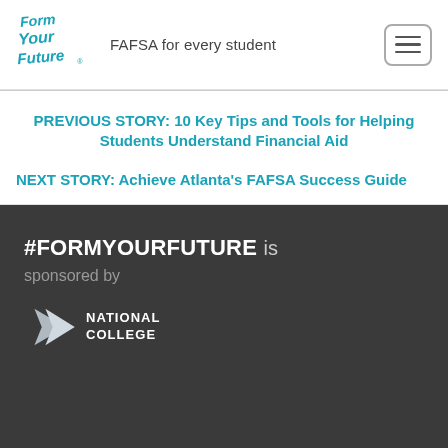[Figure (logo): Form Your Future logo — stylized handwritten text with teal color]
FAFSA for every student
PREVIOUS STORY: 10 Key Tips and Tools for Helping Students Understand Financial Aid
NEXT STORY: Achieve Atlanta's FAFSA Success Guide
#FORMYOURFUTURE is sponsored by
[Figure (logo): National College logo — teal chevron/arrow shape with NATIONAL COLLEGE text]